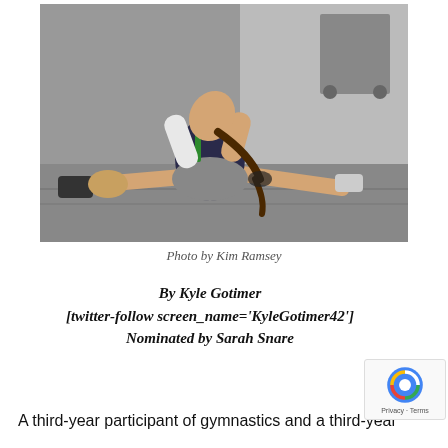[Figure (photo): A gymnast in a dark leotard performing a side split on a gym floor, bending torso forward with head down and arms raised, black and white/grayscale photo taken in a gymnasium setting.]
Photo by Kim Ramsey
By Kyle Gotimer
[twitter-follow screen_name='KyleGotimer42']
Nominated by Sarah Snare
A third-year participant of gymnastics and a third-year